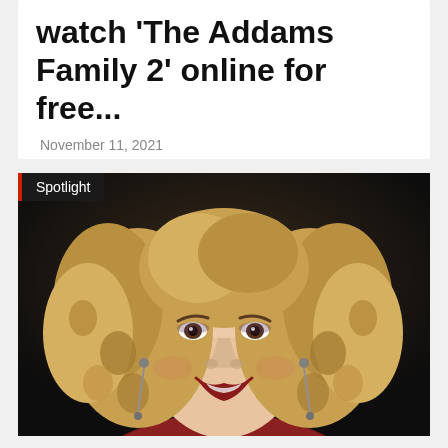watch 'The Addams Family 2' online for free...
November 11, 2021
[Figure (photo): Portrait photo of a smiling woman with curly blonde hair, wearing a dark red top and long earrings. A 'Spotlight' badge appears in the upper left corner of the image.]